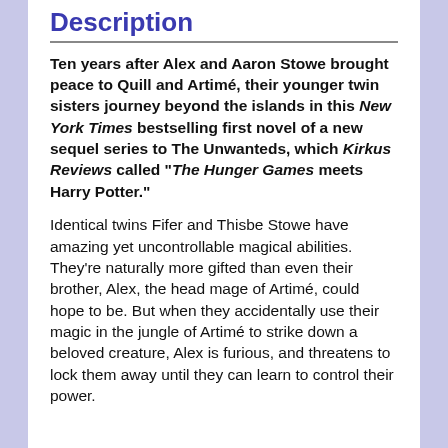Description
Ten years after Alex and Aaron Stowe brought peace to Quill and Artimé, their younger twin sisters journey beyond the islands in this New York Times bestselling first novel of a new sequel series to The Unwanteds, which Kirkus Reviews called “The Hunger Games meets Harry Potter.”
Identical twins Fifer and Thisbe Stowe have amazing yet uncontrollable magical abilities. They’re naturally more gifted than even their brother, Alex, the head mage of Artimé, could hope to be. But when they accidentally use their magic in the jungle of Artimé to strike down a beloved creature, Alex is furious, and threatens to lock them away until they can learn to control their power.